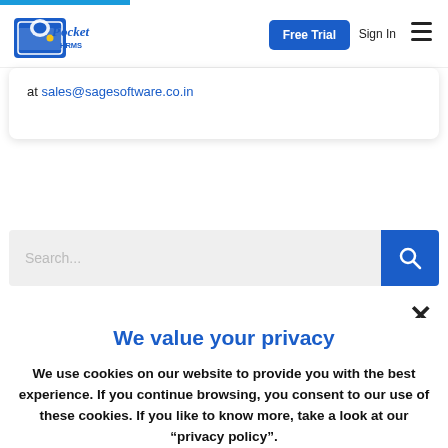Pocket HRMS — Free Trial | Sign In | Menu
at sales@sagesoftware.co.in
Search...
×
We value your privacy
We use cookies on our website to provide you with the best experience. If you continue browsing, you consent to our use of these cookies. If you like to know more, take a look at our "privacy policy".
Accept & Close